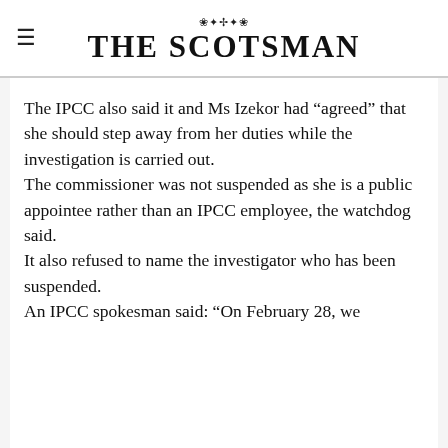THE SCOTSMAN
The IPCC also said it and Ms Izekor had “agreed” that she should step away from her duties while the investigation is carried out.
The commissioner was not suspended as she is a public appointee rather than an IPCC employee, the watchdog said.
It also refused to name the investigator who has been suspended.
An IPCC spokesman said: “On February 28, we